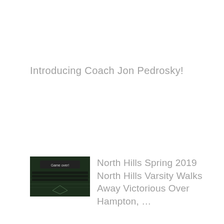Introducing Coach Jon Pedrosky!
[Figure (screenshot): Baseball scoreboard thumbnail with 'Game over!' text overlay, dark green background]
North Hills Spring 2019 North Hills Varsity Walks Away Victorious Over Hampton, …
[Figure (screenshot): Baseball scoreboard thumbnail with 'Game over!' text overlay, dark green background]
Early Lead For Moon Area Seals Fate For North Hills Spring 2019 North Hills…
[Figure (screenshot): Baseball scoreboard thumbnail with 'Game over!' text overlay, dark green background]
North Hills Spring 2019 North Hills Varsity Takes A Tough